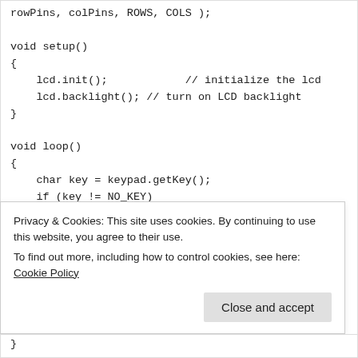rowPins, colPins, ROWS, COLS );

void setup()
{
    lcd.init();            // initialize the lcd
    lcd.backlight(); // turn on LCD backlight
}

void loop()
{
    char key = keypad.getKey();
    if (key != NO_KEY)
    {
        lcd.print(key);
        count++;
Privacy & Cookies: This site uses cookies. By continuing to use this website, you agree to their use.
To find out more, including how to control cookies, see here: Cookie Policy
}